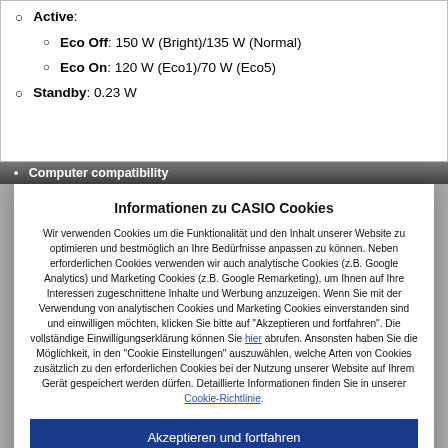Active:
Eco Off: 150 W (Bright)/135 W (Normal)
Eco On: 120 W (Eco1)/70 W (Eco5)
Standby: 0.23 W
Computer compatibility
Informationen zu CASIO Cookies
Wir verwenden Cookies um die Funktionalität und den Inhalt unserer Website zu optimieren und bestmöglich an Ihre Bedürfnisse anpassen zu können. Neben erforderlichen Cookies verwenden wir auch analytische Cookies (z.B. Google Analytics) und Marketing Cookies (z.B. Google Remarketing), um Ihnen auf Ihre Interessen zugeschnittene Inhalte und Werbung anzuzeigen. Wenn Sie mit der Verwendung von analytischen Cookies und Marketing Cookies einverstanden sind und einwilligen möchten, klicken Sie bitte auf "Akzeptieren und fortfahren". Die vollständige Einwilligungserklärung können Sie hier abrufen. Ansonsten haben Sie die Möglichkeit, in den "Cookie Einstellungen" auszuwählen, welche Arten von Cookies zusätzlich zu den erforderlichen Cookies bei der Nutzung unserer Website auf Ihrem Gerät gespeichert werden dürfen. Detaillierte Informationen finden Sie in unserer Cookie-Richtlinie.
Akzeptieren und fortfahren
Cookie-Einstellungen